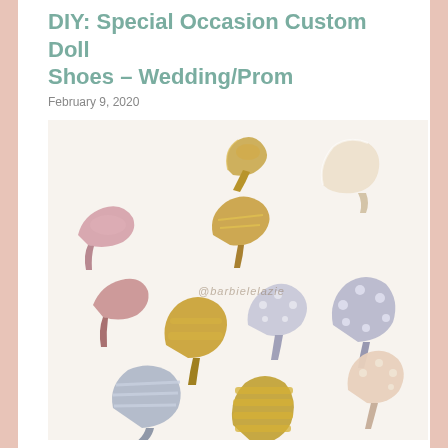DIY: Special Occasion Custom Doll Shoes – Wedding/Prom
February 9, 2020
[Figure (photo): Flat lay photograph of approximately 12 miniature custom doll shoes arranged in a circular pattern on a white surface. The shoes include various styles: gold glitter heels, pink satin pumps, cream/ivory sculptural heels, gold strappy sandals, silver rhinestone heels, blush pearl heels, silver cage sandals, and gold gladiator sandals. A watermark reading @barbielelazie appears in the center of the image.]